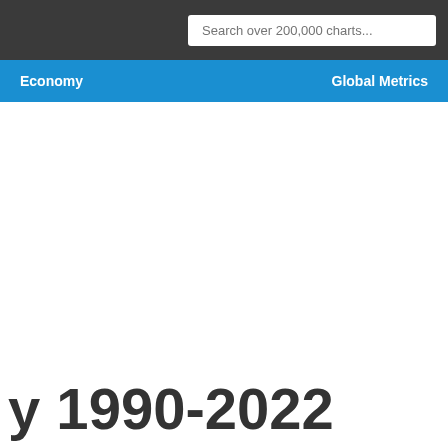Search over 200,000 charts...
Economy    Global Metrics
y 1990-2022